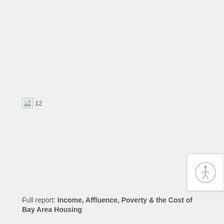[Figure (other): Broken image placeholder with number 12]
[Figure (other): Accessibility/screen reader circular icon button in the top-right area]
Full report: Income, Affluence, Poverty & the Cost of Bay Area Housing